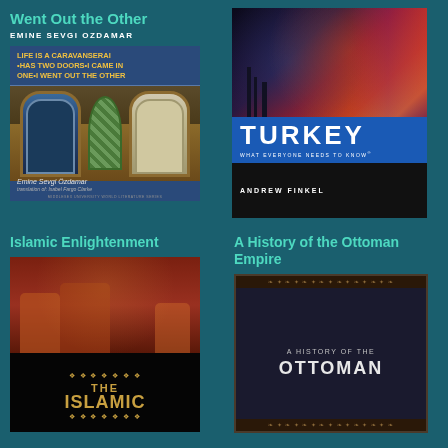Went Out the Other
EMINE SEVGI OZDAMAR
[Figure (photo): Book cover: Life is a Caravanserai Has Two Doors I Came in One I Went Out the Other by Emine Sevgi Ozdamar, Middlesex University World Literature Series]
[Figure (photo): Book cover: Turkey What Everyone Needs to Know by Andrew Finkel, with photo of Istanbul at night]
Islamic Enlightenment
A History of the Ottoman Empire
[Figure (photo): Book cover: The Islamic Enlightenment, partially visible]
[Figure (photo): Book cover: A History of the Ottoman Empire, partially visible]